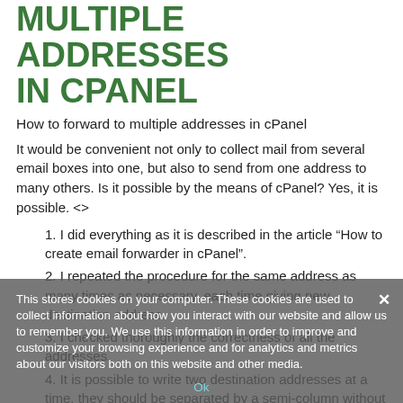MULTIPLE ADDRESSES IN CPANEL
How to forward to multiple addresses in cPanel
It would be convenient not only to collect mail from several email boxes into one, but also to send from one address to many others. Is it possible by the means of cPanel? Yes, it is possible. <>
1. I did everything as it is described in the article “How to create email forwarder in cPanel”.
2. I repeated the procedure for the same address as many times as necessary, each time giving new destination address.
3. I checked thoroughly the correctness of all the addresses.
4. It is possible to write two destination addresses at a time, they should be separated by a semi-column without any space between the addresses.
To read about the procedure in details, see — >
With one email I wanted to inform all users of my site about some important event. I did everything as it is described in the
This stores cookies on your computer. These cookies are used to collect information about how you interact with our website and allow us to remember you. We use this information in order to improve and customize your browsing experience and for analytics and metrics about our visitors both on this website and other media.